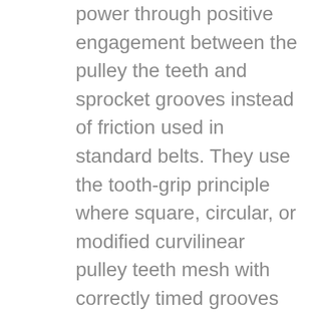Description: They are toothed pulleys that transmit power through positive engagement between the pulley the teeth and sprocket grooves instead of friction used in standard belts. They use the tooth-grip principle where square, circular, or modified curvilinear pulley teeth mesh with correctly timed grooves on a drive for positive power transmission. Because the pulley maintains positive engagement with the traveling gear sprocket, power transmitting is smooth. For instance, there is no need to worry about the pulley slipping over the way it happens with regular belt drives. Furthermore, the thin cross portion of synchronous pulleys implies that less energy is required to run it. On important drives, using a synchronous pulley that will not require retensioning can help to improve your systems energy performance. It also helps to reduce downtime. This will help to increase the overall production. Another benefit of using synchronous pulleys is that they allow your system to operate